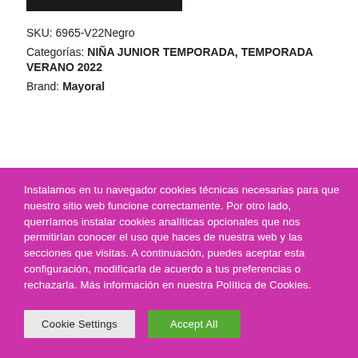SKU: 6965-V22Negro
Categorías: NIÑA JUNIOR TEMPORADA, TEMPORADA VERANO 2022
Brand: Mayoral
Instalamos en tu navegador cookies técnicas necesarias para que nuestro sitio web funcione correctamente. Por otro lado, querríamos instalar cookies analíticas opcionales que nos permitirían conocer el uso que haces de nuestra web y las secciones que visitas. A continuación, puedes aceptar esta configuración, modificarla de acuerdo a tus preferencias o rechazarla. Más información en nuestra Política de Cookies.
Cookie Settings
Accept All